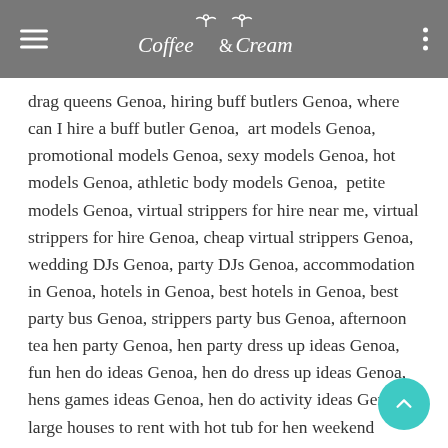Coffee & Cream
drag queens Genoa, hiring buff butlers Genoa, where can I hire a buff butler Genoa,  art models Genoa, promotional models Genoa, sexy models Genoa, hot models Genoa, athletic body models Genoa,  petite models Genoa, virtual strippers for hire near me, virtual strippers for hire Genoa, cheap virtual strippers Genoa, wedding DJs Genoa, party DJs Genoa, accommodation in Genoa, hotels in Genoa, best hotels in Genoa, best party bus Genoa, strippers party bus Genoa, afternoon tea hen party Genoa, hen party dress up ideas Genoa, fun hen do ideas Genoa, hen do dress up ideas Genoa, hens games ideas Genoa, hen do activity ideas Genoa, large houses to rent with hot tub for hen weekend Genoa, hen do quiz Genoa, hen party planning Genoa, small hen party ideas Genoa, fun hen par…